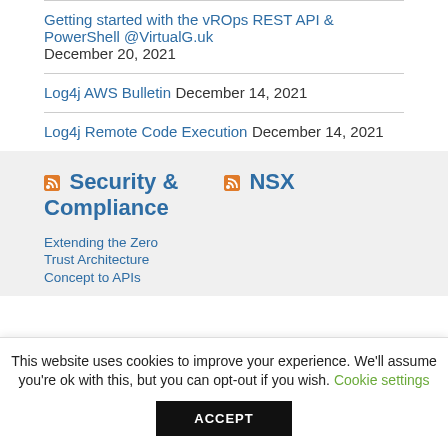Getting started with the vROps REST API & PowerShell @VirtualG.uk December 20, 2021
Log4j AWS Bulletin December 14, 2021
Log4j Remote Code Execution December 14, 2021
Security & Compliance
NSX
Extending the Zero Trust Architecture Concept to APIs
This website uses cookies to improve your experience. We'll assume you're ok with this, but you can opt-out if you wish. Cookie settings ACCEPT